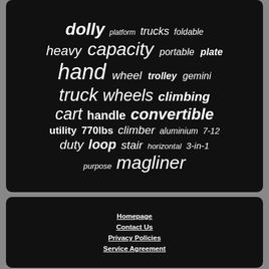[Figure (other): Word cloud on dark background with terms related to hand trucks and dollies: dolly, platform, trucks, foldable, heavy, capacity, portable, plate, hand, wheel, trolley, gemini, truck, wheels, climbing, cart, handle, convertible, utility, 770lbs, climber, aluminium, 7-12, duty, loop, stair, horizontal, 3-in-1, purpose, magliner]
Homepage | Contact Us | Privacy Policies | Service Agreement